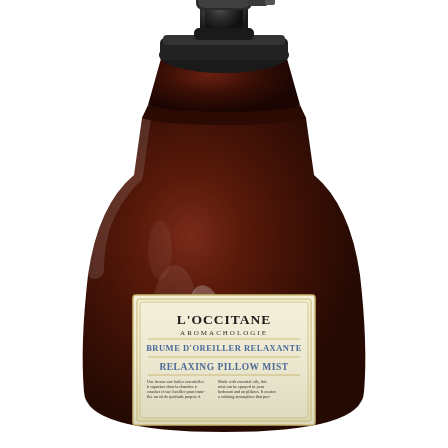[Figure (photo): Product photo of L'Occitane Aromachologie Relaxing Pillow Mist spray bottle. Dark amber/brown glass bottle with black pump sprayer cap. Label on bottle reads: L'OCCITANE AROMACHOLOGIE, BRUME D'OREILLER RELAXANTE, RELAXING PILLOW MIST, with small descriptive text in French and English at the bottom of the label.]